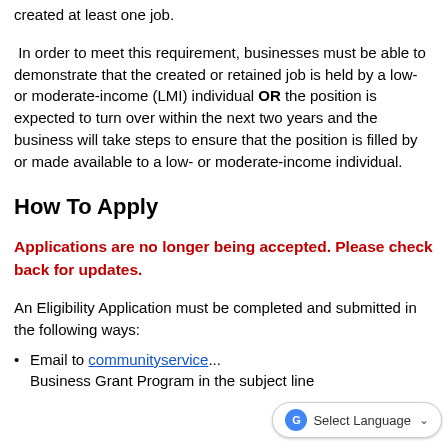created at least one job.
In order to meet this requirement, businesses must be able to demonstrate that the created or retained job is held by a low- or moderate-income (LMI) individual OR the position is expected to turn over within the next two years and the business will take steps to ensure that the position is filled by or made available to a low- or moderate-income individual.
How To Apply
Applications are no longer being accepted. Please check back for updates.
An Eligibility Application must be completed and submitted in the following ways:
Email to communityservice... Business Grant Program in the subject line